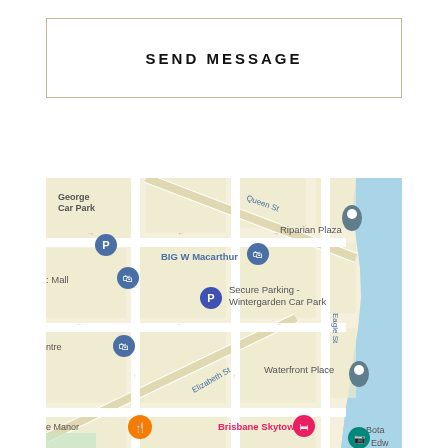SEND MESSAGE
[Figure (map): Google Maps screenshot showing Brisbane CBD area with landmarks: George Car Park, BIG W Macarthur, Riparian Plaza, Secure Parking - Wintergarden Car Park, Waterfront Place, Brisbane Skytower, and partial labels for Mall, Centre, e Manor, Bota, Edw. Streets visible: Queen St, Eagle St, Elizabeth St. Blue river/water visible on right side.]